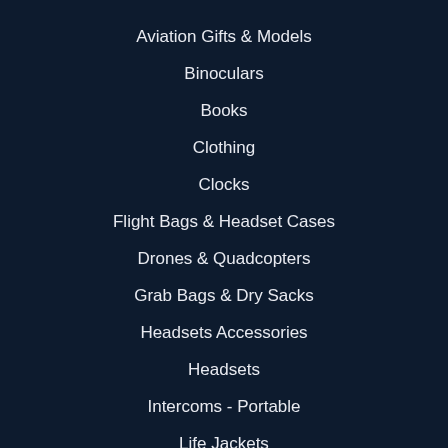Aviation Gifts & Models
Binoculars
Books
Clothing
Clocks
Flight Bags & Headset Cases
Drones & Quadcopters
Grab Bags & Dry Sacks
Headsets Accessories
Headsets
Intercoms - Portable
Life Jackets
Lights & Lamps
Locator Beacons